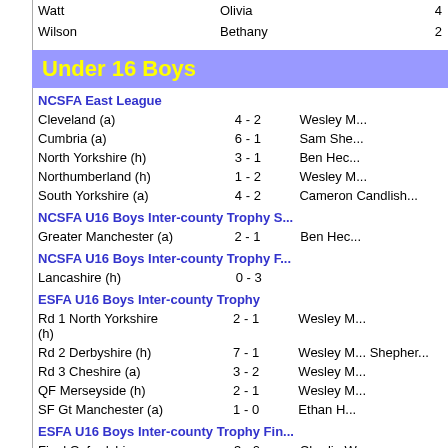| Surname | First | Number |
| --- | --- | --- |
| Watt | Olivia | 4 |
| Wilson | Bethany | 2 |
Under 16 Boys
NCSFA East League
| Match | Score | Scorers |
| --- | --- | --- |
| Cleveland (a) | 4 - 2 | Wesley M... |
| Cumbria (a) | 6 - 1 | Sam She... |
| North Yorkshire (h) | 3 - 1 | Ben Hec... |
| Northumberland (h) | 1 - 2 | Wesley M... |
| South Yorkshire (a) | 4 - 2 | Cameron Candlish... |
NCSFA U16 Boys Inter-county Trophy S...
| Match | Score | Scorers |
| --- | --- | --- |
| Greater Manchester (a) | 2 - 1 | Ben Hec... |
NCSFA U16 Boys Inter-county Trophy F...
| Match | Score | Scorers |
| --- | --- | --- |
| Lancashire (h) | 0 - 3 |  |
ESFA U16 Boys Inter-county Trophy
| Match | Score | Scorers |
| --- | --- | --- |
| Rd 1 North Yorkshire (h) | 2 - 1 | Wesley M... |
| Rd 2 Derbyshire (h) | 7 - 1 | Wesley M... Shepher... |
| Rd 3 Cheshire (a) | 3 - 2 | Wesley M... |
| QF Merseyside (h) | 2 - 1 | Wesley M... |
| SF Gt Manchester (a) | 1 - 0 | Ethan H... |
ESFA U16 Boys Inter-county Trophy Fin...
| Match | Score | Scorers |
| --- | --- | --- |
| Final Oxfordshire | 3 - 0 | Charlie W... |